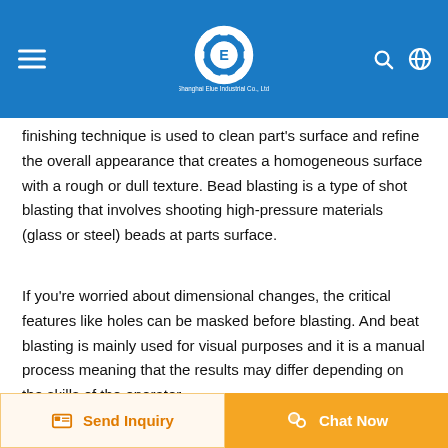[Figure (logo): Shanghai Elue Industrial Co., Ltd. logo with gear icon on blue header bar, hamburger menu on left, search and globe icons on right]
finishing technique is used to clean part's surface and refine the overall appearance that creates a homogeneous surface with a rough or dull texture. Bead blasting is a type of shot blasting that involves shooting high-pressure materials (glass or steel) beads at parts surface.
If you're worried about dimensional changes, the critical features like holes can be masked before blasting. And beat blasting is mainly used for visual purposes and it is a manual process meaning that the results may differ depending on the skills of the operator.
Send Inquiry | Chat Now